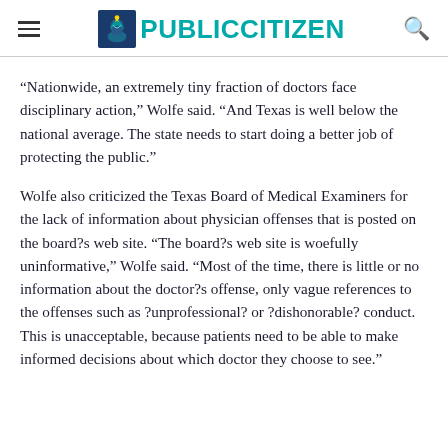PUBLIC CITIZEN
“Nationwide, an extremely tiny fraction of doctors face disciplinary action,” Wolfe said. “And Texas is well below the national average. The state needs to start doing a better job of protecting the public.”
Wolfe also criticized the Texas Board of Medical Examiners for the lack of information about physician offenses that is posted on the board?s web site. “The board?s web site is woefully uninformative,” Wolfe said. “Most of the time, there is little or no information about the doctor?s offense, only vague references to the offenses such as ?unprofessional? or ?dishonorable? conduct. This is unacceptable, because patients need to be able to make informed decisions about which doctor they choose to see.”